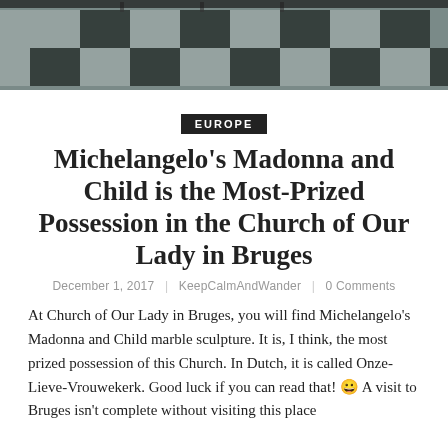[Figure (photo): Interior photo of a church with black and white checkered marble floor, viewed from above/angle]
EUROPE
Michelangelo's Madonna and Child is the Most-Prized Possession in the Church of Our Lady in Bruges
December 1, 2017 | KeepCalmAndWander | 0 Comments
At Church of Our Lady in Bruges, you will find Michelangelo's Madonna and Child marble sculpture. It is, I think, the most prized possession of this Church. In Dutch, it is called Onze-Lieve-Vrouwekerk. Good luck if you can read that! 😀 A visit to Bruges isn't complete without visiting this place